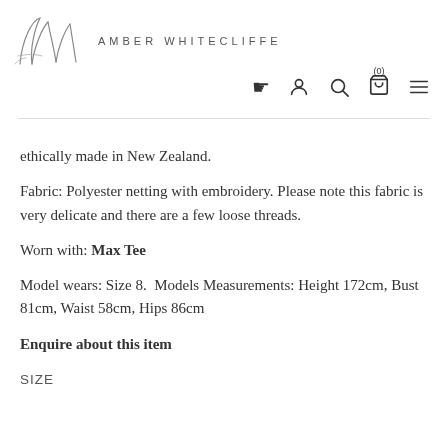[Figure (logo): Amber Whitecliffe cursive AW monogram logo with brand name text 'AMBER WHITECLIFFE' in spaced capitals]
(0) [cart icon] [search icon] [user icon] [menu icon]
ethically made in New Zealand.
Fabric: Polyester netting with embroidery. Please note this fabric is very delicate and there are a few loose threads.
Worn with: Max Tee
Model wears: Size 8.  Models Measurements: Height 172cm, Bust 81cm, Waist 58cm, Hips 86cm
Enquire about this item
SIZE